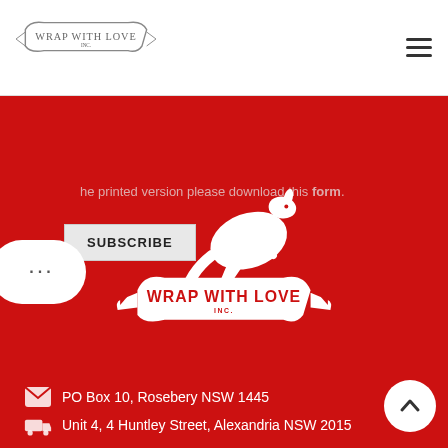[Figure (logo): Wrap With Love Inc. banner logo with kangaroo — header version]
SUBSCRIBE
he printed version please download this form.
[Figure (logo): Wrap With Love Inc. white kangaroo and banner logo on red background]
PO Box 10, Rosebery NSW 1445
Unit 4, 4 Huntley Street, Alexandria NSW 2015